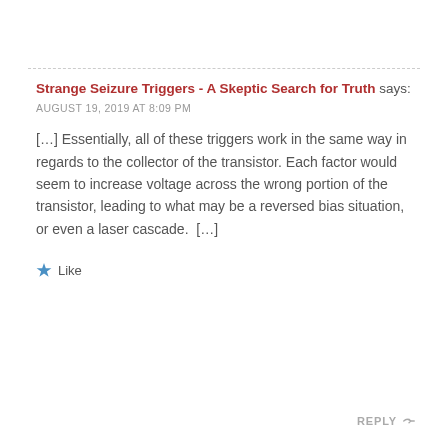Strange Seizure Triggers - A Skeptic Search for Truth says:
AUGUST 19, 2019 AT 8:09 PM
[…] Essentially, all of these triggers work in the same way in regards to the collector of the transistor. Each factor would seem to increase voltage across the wrong portion of the transistor, leading to what may be a reversed bias situation, or even a laser cascade.  […]
Like
REPLY